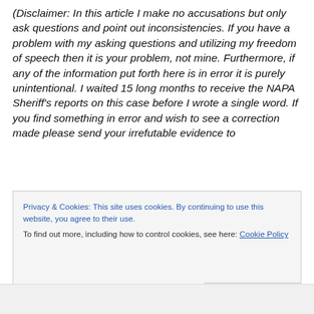(Disclaimer: In this article I make no accusations but only ask questions and point out inconsistencies. If you have a problem with my asking questions and utilizing my freedom of speech then it is your problem, not mine. Furthermore, if any of the information put forth here is in error it is purely unintentional. I waited 15 long months to receive the NAPA Sheriff's reports on this case before I wrote a single word. If you find something in error and wish to see a correction made please send your irrefutable evidence to
Privacy & Cookies: This site uses cookies. By continuing to use this website, you agree to their use.
To find out more, including how to control cookies, see here: Cookie Policy
Close and accept